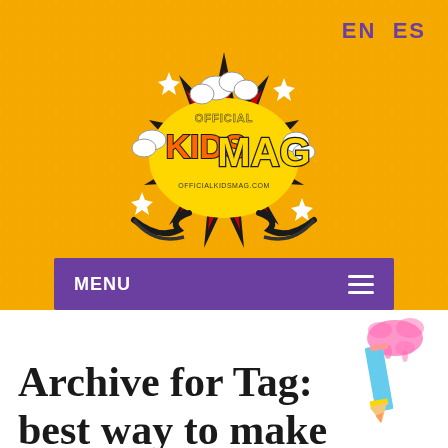EN  ES
[Figure (logo): Official Kids Mag logo - comic book style explosion with text 'OFFICIAL KIDS MAG' and 'OFFICIALKIDSMAG.COM']
MENU
Archive for Tag: best way to make slime